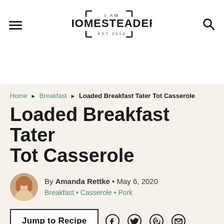I AM HOMESTEADER EST 2016
Home ▶ Breakfast ▶ Loaded Breakfast Tater Tot Casserole
Loaded Breakfast Tater Tot Casserole
By Amanda Rettke • May 6, 2020
Breakfast • Casserole • Pork
Jump to Recipe